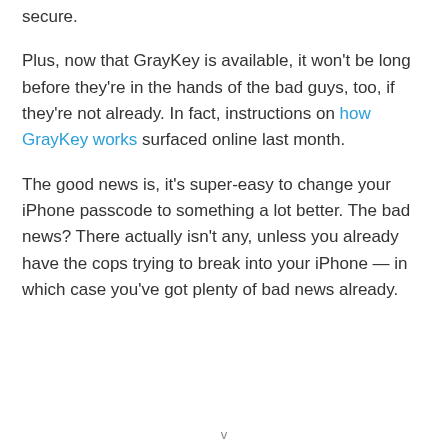secure.
Plus, now that GrayKey is available, it won't be long before they're in the hands of the bad guys, too, if they're not already. In fact, instructions on how GrayKey works surfaced online last month.
The good news is, it's super-easy to change your iPhone passcode to something a lot better. The bad news? There actually isn't any, unless you already have the cops trying to break into your iPhone — in which case you've got plenty of bad news already.
v